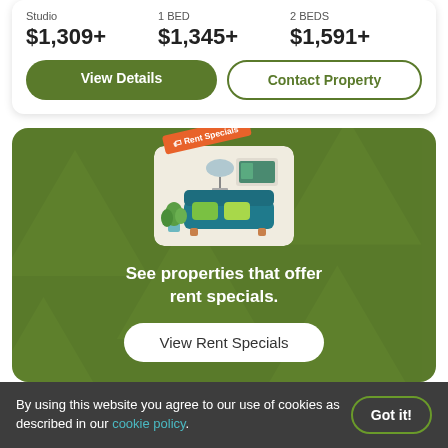Studio $1,309+
1 BED $1,345+
2 BEDS $1,591+
View Details
Contact Property
[Figure (illustration): Rent Specials promo card with a couch illustration and orange 'Rent Specials' tag badge]
See properties that offer rent specials.
View Rent Specials
By using this website you agree to our use of cookies as described in our cookie policy.
Got it!